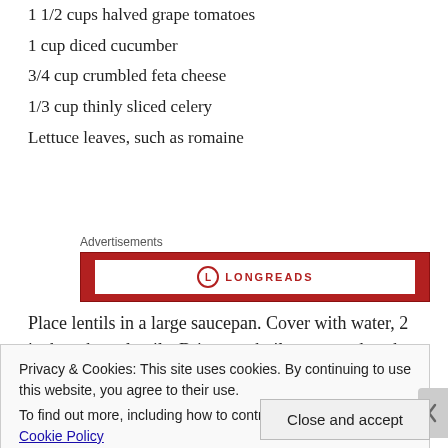1 1/2 cups halved grape tomatoes
1 cup diced cucumber
3/4 cup crumbled feta cheese
1/3 cup thinly sliced celery
Lettuce leaves, such as romaine
[Figure (other): Longreads advertisement banner with red background and white inner box showing the Longreads logo]
Place lentils in a large saucepan. Cover with water, 2 inches above lentils. Bring to a boil, cover, reduce heat to low and
Privacy & Cookies: This site uses cookies. By continuing to use this website, you agree to their use.
To find out more, including how to control cookies, see here: Cookie Policy
Close and accept